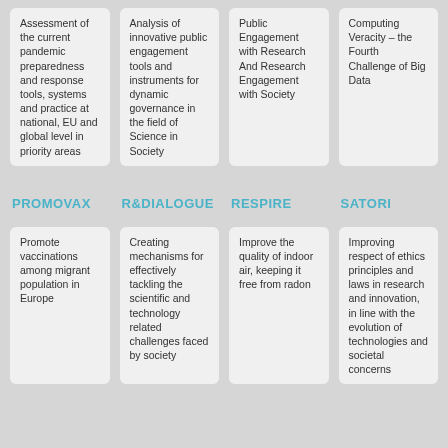Assessment of the current pandemic preparedness and response tools, systems and practice at national, EU and global level in priority areas
Analysis of innovative public engagement tools and instruments for dynamic governance in the field of Science in Society
Public Engagement with Research And Research Engagement with Society
Computing Veracity – the Fourth Challenge of Big Data
PROMOVAX
R&DIALOGUE
RESPIRE
SATORI
Promote vaccinations among migrant population in Europe
Creating mechanisms for effectively tackling the scientific and technology related challenges faced by society
Improve the quality of indoor air, keeping it free from radon
Improving respect of ethics principles and laws in research and innovation, in line with the evolution of technologies and societal concerns